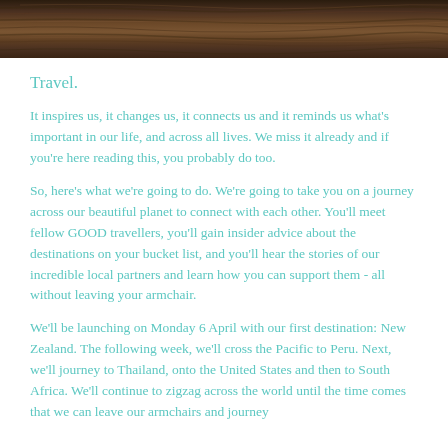[Figure (photo): Wood grain texture header image, dark brown tones]
Travel.
It inspires us, it changes us, it connects us and it reminds us what's important in our life, and across all lives. We miss it already and if you're here reading this, you probably do too.
So, here's what we're going to do. We're going to take you on a journey across our beautiful planet to connect with each other. You'll meet fellow GOOD travellers, you'll gain insider advice about the destinations on your bucket list, and you'll hear the stories of our incredible local partners and learn how you can support them - all without leaving your armchair.
We'll be launching on Monday 6 April with our first destination: New Zealand. The following week, we'll cross the Pacific to Peru. Next, we'll journey to Thailand, onto the United States and then to South Africa. We'll continue to zigzag across the world until the time comes that we can leave our armchairs and journey